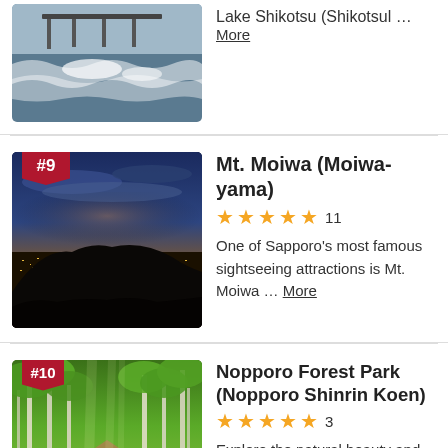[Figure (photo): Lake Shikotsu waves with dock/pier in the background, black and white toned photo]
Lake Shikotsu (Shikotsuko ... More
[Figure (photo): Mt. Moiwa night view showing city lights from the mountain, dark blue sky with clouds]
Mt. Moiwa (Moiwa-yama)
★★★★★ 11
One of Sapporo's most famous sightseeing attractions is Mt. Moiwa ... More
[Figure (photo): Nopporo Forest Park lush green forest pathway with tall birch trees]
Nopporo Forest Park (Nopporo Shinrin Koen)
★★★★★ 3
Explore the natural beauty and history of Hokkaido at Nopporo Forest Park (Nopporo Sh... More